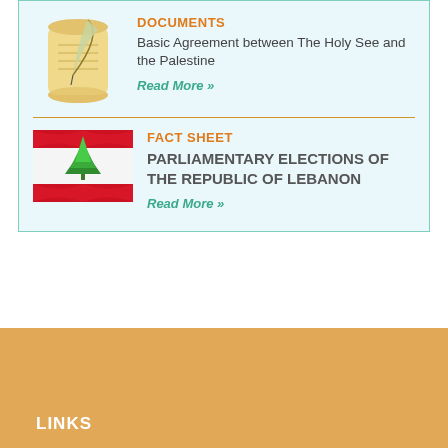DOCUMENTS
Basic Agreement between The Holy See and the Palestine
Read More »
[Figure (illustration): Illustrated scroll with a quill pen, cartoon style]
FACT SHEET
PARLIAMENTARY ELECTIONS OF THE REPUBLIC OF LEBANON
Read More »
[Figure (photo): Lebanese flag with red and white stripes and green cedar tree]
LINKS